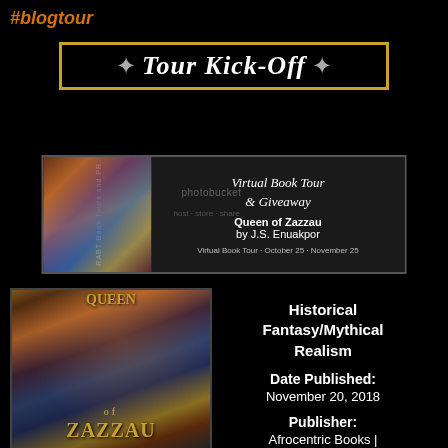#blogtour
[Figure (illustration): Tour Kick-Off banner with gold border, decorative star symbols, and white italic text on black background]
[Figure (illustration): Virtual Book Tour & Giveaway banner for Queen of Zazzau by J.S. Enuakpor, RABT Book Tours and PR, Virtual Book Tour October 25 - November 25, with photobucket watermark]
[Figure (illustration): Book cover for Queen of Zazzau showing a figure with body paint and braided hair]
Historical Fantasy/Mythical Realism
Date Published: November 20, 2018
Publisher: Afrocentric Books |